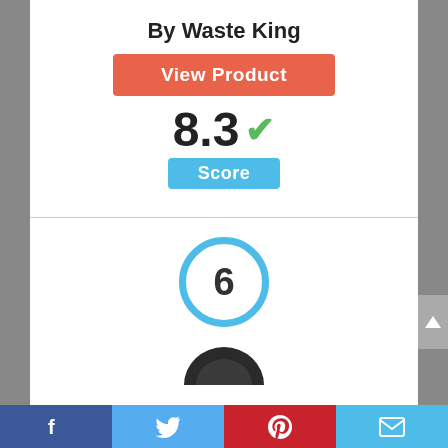By Waste King
View Product
8.3 ✓
Score
[Figure (infographic): Circle badge with number 6 inside, blue border]
[Figure (photo): Partial product photo at bottom of section]
Facebook | Twitter | Pinterest | Email